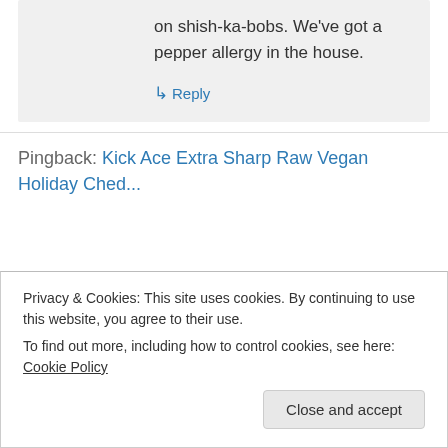on shish-ka-bobs. We've got a pepper allergy in the house.
↳ Reply
Pingback: Kick Ace Extra Sharp Raw Vegan Holiday Ched...
Privacy & Cookies: This site uses cookies. By continuing to use this website, you agree to their use.
To find out more, including how to control cookies, see here: Cookie Policy
Close and accept